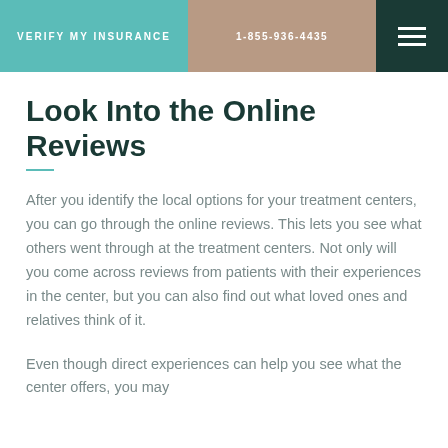VERIFY MY INSURANCE | 1-855-936-4435
Look Into the Online Reviews
After you identify the local options for your treatment centers, you can go through the online reviews. This lets you see what others went through at the treatment centers. Not only will you come across reviews from patients with their experiences in the center, but you can also find out what loved ones and relatives think of it.
Even though direct experiences can help you see what the center offers, you may